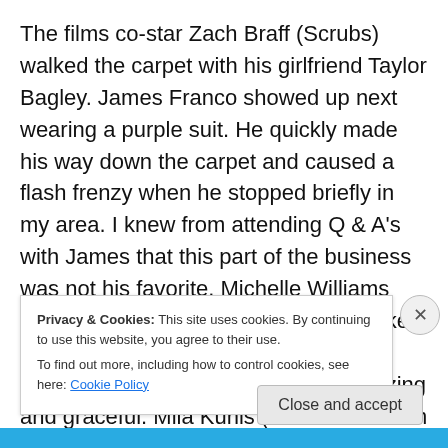The films co-star Zach Braff (Scrubs) walked the carpet with his girlfriend Taylor Bagley. James Franco showed up next wearing a purple suit. He quickly made his way down the carpet and caused a flash frenzy when he stopped briefly in my area. I knew from attending Q & A's with James that this part of the business was not his favorite. Michelle Williams who plays Glinda (the good witch) looked beautiful. I must admit I like her better with long hair but she still looked amazing and graceful. Mila Kunis (who arrived with out Ashton Kutcher who was on the press list) arrived right after Michelle looking absolutely
Privacy & Cookies: This site uses cookies. By continuing to use this website, you agree to their use.
To find out more, including how to control cookies, see here: Cookie Policy
Close and accept